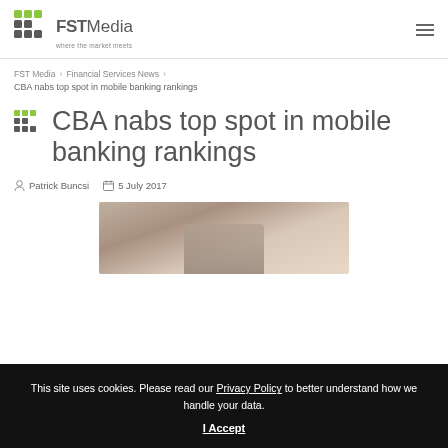[Figure (logo): FST Media logo with grid icon on left, FST in dark grey bold, Media in light grey, tagline 'where the market meets' below]
CBA nabs top spot in mobile banking rankings
FST Media > Financial Services News > CBA nabs top spot in mobile banking rankings
Patrick Buncsi  5 July 2017
[Figure (photo): Partial photo of person holding a mobile device, partially obscured by cookie banner]
This site uses cookies. Please read our Privacy Policy to better understand how we handle your data.
I Accept